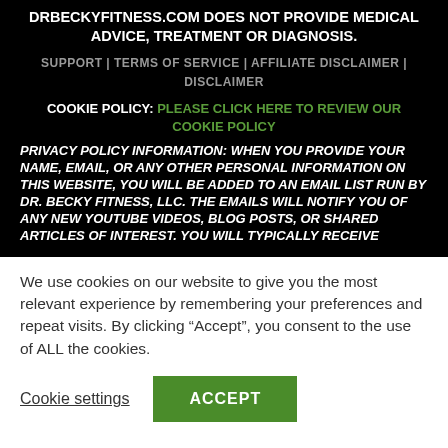DRBECKYFITNESS.COM DOES NOT PROVIDE MEDICAL ADVICE, TREATMENT OR DIAGNOSIS.
SUPPORT | TERMS OF SERVICE | AFFILIATE DISCLAIMER | DISCLAIMER
COOKIE POLICY: PLEASE CLICK HERE TO REVIEW OUR COOKIE POLICY
PRIVACY POLICY INFORMATION: WHEN YOU PROVIDE YOUR NAME, EMAIL, OR ANY OTHER PERSONAL INFORMATION ON THIS WEBSITE, YOU WILL BE ADDED TO AN EMAIL LIST RUN BY DR. BECKY FITNESS, LLC. THE EMAILS WILL NOTIFY YOU OF ANY NEW YOUTUBE VIDEOS, BLOG POSTS, OR SHARED ARTICLES OF INTEREST. YOU WILL TYPICALLY RECEIVE
We use cookies on our website to give you the most relevant experience by remembering your preferences and repeat visits. By clicking “Accept”, you consent to the use of ALL the cookies.
Cookie settings
ACCEPT